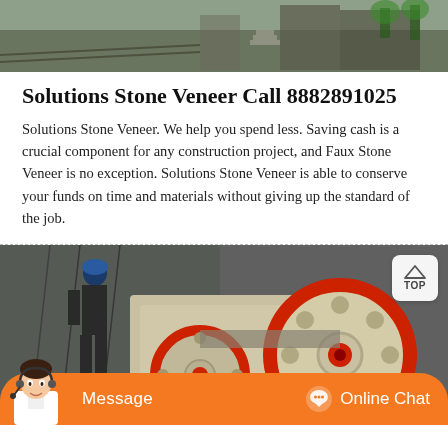[Figure (photo): Aerial/overhead construction site photo showing stone veneer or quarry work with machinery and building structures]
Solutions Stone Veneer Call 8882891025
Solutions Stone Veneer. We help you spend less. Saving cash is a crucial component for any construction project, and Faux Stone Veneer is no exception. Solutions Stone Veneer is able to conserve your funds on time and materials without giving up the standard of the job.
[Figure (photo): Close-up photo of industrial machinery showing a large wheel/flywheel with red rim, likely part of a stone crusher or similar construction equipment, with a worker visible in the background]